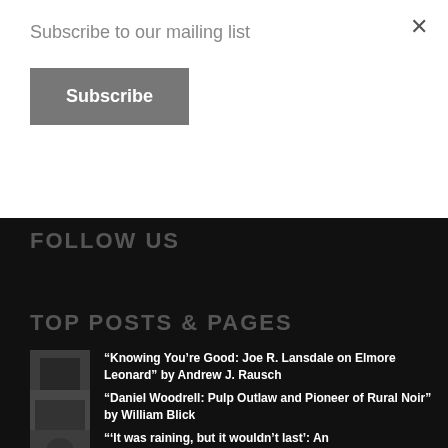Subscribe to our mailing list
Subscribe
FOLLOW US
TOP POSTS & PAGES
“Knowing You’re Good: Joe R. Lansdale on Elmore Leonard” by Andrew J. Rausch
“Daniel Woodrell: Pulp Outlaw and Pioneer of Rural Noir” by William Blick
“‘It was raining, but it wouldn’t last’: An